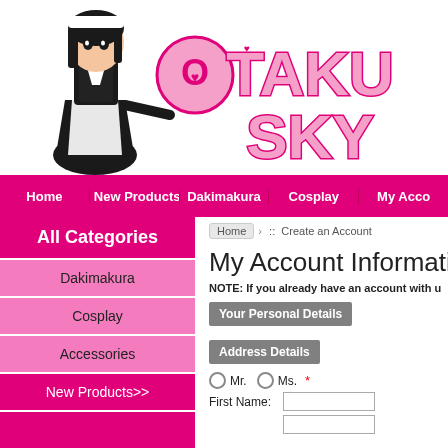[Figure (logo): Otaku Sky website logo with anime maid character on the left and pink bubble-letter 'Otaku Sky' text with hearts]
Home | New Products | Dakimakura | Cosplay | My Acco
All Categories
Dakimakura
Cosplay
Accessories
New Products>>
All Products>>
Home :: Create an Account
My Account Informatio
NOTE: If you already have an account with u
Your Personal Details
Address Details
Mr. Ms. *
First Name: